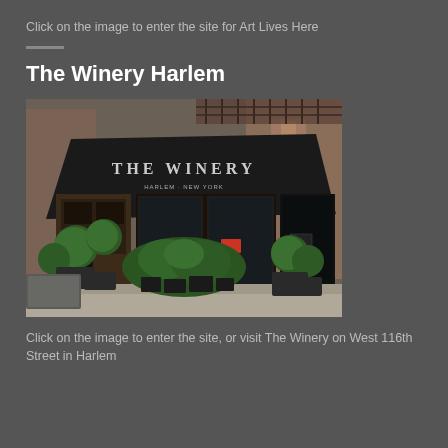Click on the image to enter the site for Art Lives Here
[Figure (photo): Exterior facade of The Winery Harlem restaurant showing a large black awning with 'THE WINERY' text, surrounded by potted topiary plants and green bushes, with a brick building in the background.]
The Winery Harlem
Click on the image to enter the site, or visit The Winery on West 116th Street in Harlem